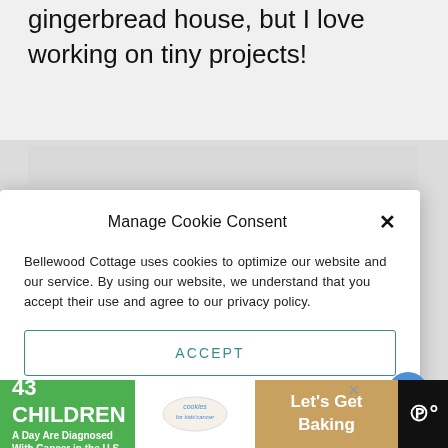gingerbread house, but I love working on tiny projects!
[Figure (screenshot): Cookie consent modal dialog with title 'Manage Cookie Consent', body text about Bellewood Cottage cookies, an ACCEPT button, and two Privacy Policy links]
[Figure (infographic): Advertisement banner: '43 Children A Day Are Diagnosed With Cancer in the U.S.' with cookies for kids' cancer branding and 'Let's Get Baking' text]